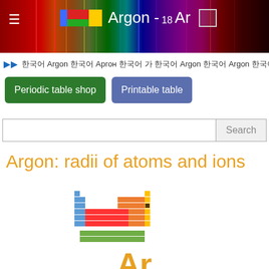Argon - 18Ar
Argon Аргон Argon Argon Argon ארגון A
Periodic table shop   Printable table
Search
Argon: radii of atoms and ions
[Figure (infographic): Mini periodic table with Argon (element 18) highlighted, shown as a small square grid of colored element blocks]
Ar